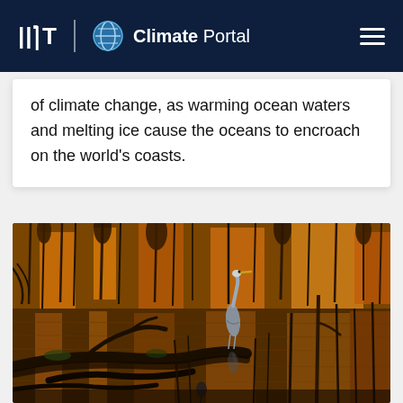MIT Climate Portal
of climate change, as warming ocean waters and melting ice cause the oceans to encroach on the world's coasts.
[Figure (photo): A great blue heron standing in a wetland marsh with golden-orange autumn reflections in the water, driftwood in the foreground, and tall marsh grasses in the background.]